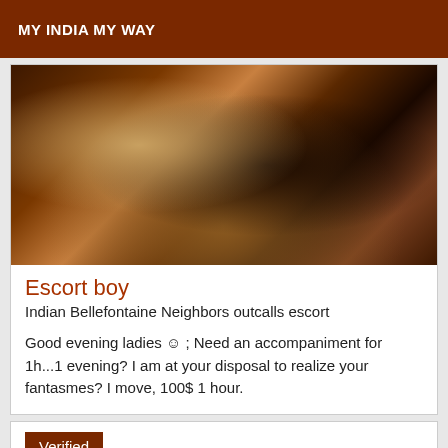MY INDIA MY WAY
[Figure (photo): A dark photo showing a person's torso with partial clothing, taken indoors with warm wooden background tones.]
Escort boy
Indian Bellefontaine Neighbors outcalls escort
Good evening ladies ☺ ; Need an accompaniment for 1h...1 evening? I am at your disposal to realize your fantasmes? I move, 100$ 1 hour.
Verified